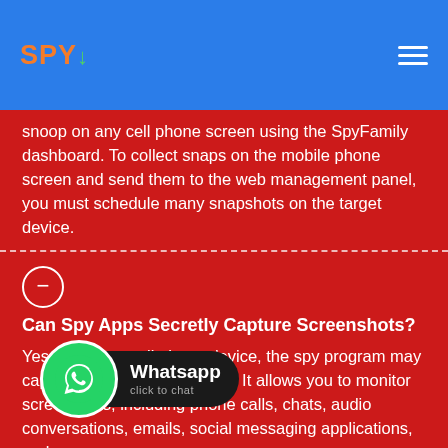SPY↓ [logo] [hamburger menu]
snoop on any cell phone screen using the SpyFamily dashboard. To collect snaps on the mobile phone screen and send them to the web management panel, you must schedule many snapshots on the target device.
Can Spy Apps Secretly Capture Screenshots?
Yes. On every cell phone device, the spy program may capture and spy screenshots. It allows you to monitor screenshots, including phone calls, chats, audio conversations, emails, social messaging applications, and more.
[Figure (logo): WhatsApp click to chat button with green phone icon and dark label]